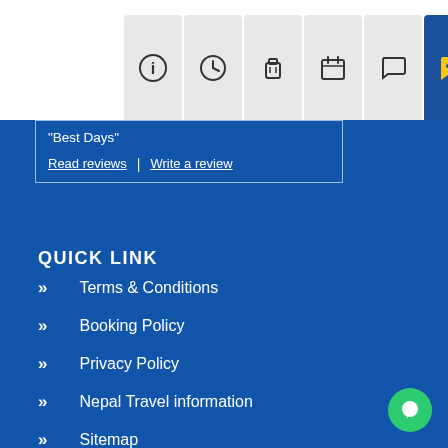[Figure (screenshot): Navigation tab bar with icons: info, clock, luggage, calendar, chat bubble (inactive), chat bubble (active/highlighted in dark blue)]
"Best Days"
Read reviews  |  Write a review
QUICK LINK
Terms & Conditions
Booking Policy
Privacy Policy
Nepal Travel information
Sitemap